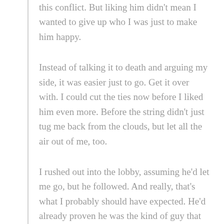this conflict. But liking him didn't mean I wanted to give up who I was just to make him happy.
Instead of talking it to death and arguing my side, it was easier just to go. Get it over with. I could cut the ties now before I liked him even more. Before the string didn't just tug me back from the clouds, but let all the air out of me, too.
I rushed out into the lobby, assuming he'd let me go, but he followed. And really, that's what I probably should have expected. He'd already proven he was the kind of guy that chased. Shoe or not, Nate Charming liked his fairytale kink.
And I'd just performed the most cliché move of all for a sexed-up Cinderella—I'd run from the freaking